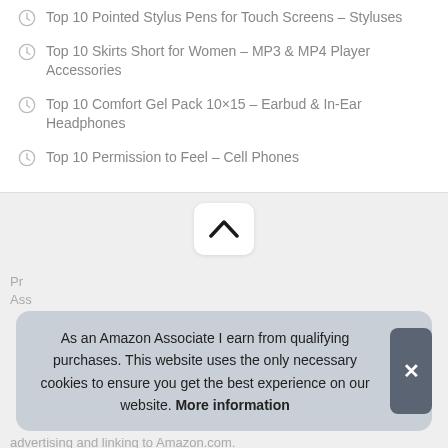Top 10 Pointed Stylus Pens for Touch Screens – Styluses
Top 10 Skirts Short for Women – MP3 & MP4 Player Accessories
Top 10 Comfort Gel Pack 10×15 – Earbud & In-Ear Headphones
Top 10 Permission to Feel – Cell Phones
[Figure (screenshot): Chevron/up arrow button in a white rounded rectangle on a gray background]
As an Amazon Associate I earn from qualifying purchases. This website uses the only necessary cookies to ensure you get the best experience on our website. More information
advertising and linking to Amazon.com.